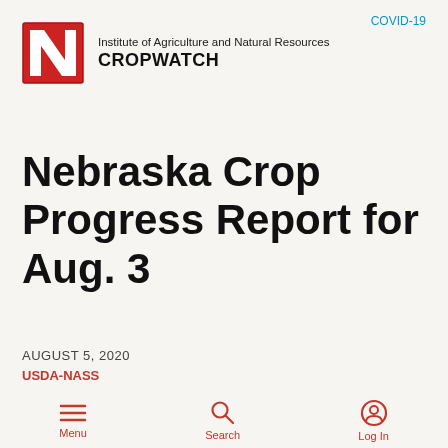COVID-19
[Figure (logo): University of Nebraska red N logo with CROPWATCH branding and Institute of Agriculture and Natural Resources text]
Nebraska Crop Progress Report for Aug. 3
AUGUST 5, 2020
USDA-NASS
Menu  Search  Log In